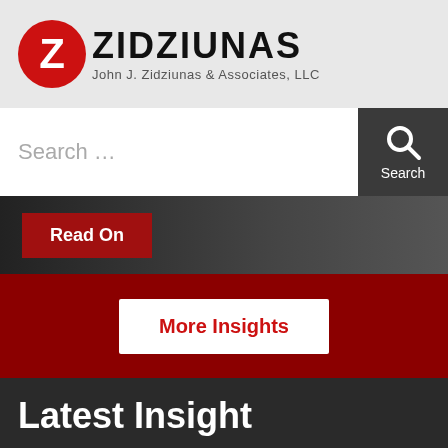[Figure (logo): Zidziunas law firm logo — red circle with white Z, followed by ZIDZIUNAS in bold and 'John J. Zidziunas & Associates, LLC' below]
Search …
Search
[Figure (photo): Dark grayscale background photo with a red 'Read On' button in the lower-left area]
More Insights
Latest Insight
Defending Against Attack Damages in a Lawsuit: